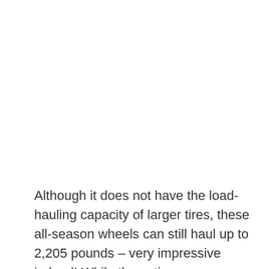Although it does not have the load-hauling capacity of larger tires, these all-season wheels can still haul up to 2,205 pounds – very impressive indeed! While these tires are renowned for their longevity, the manufacturer